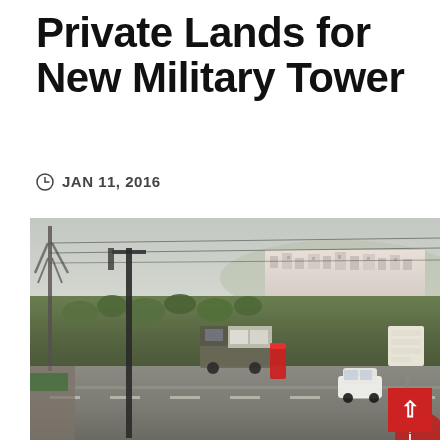Private Lands for New Military Tower
JAN 11, 2016
[Figure (photo): Road scene showing a settlement on a hill in the background, power line tower on the left, a street pole, a truck and cars on the road, with vegetation between road and settlement. A red cylindrical sign is visible near center, and road signs on the right side.]